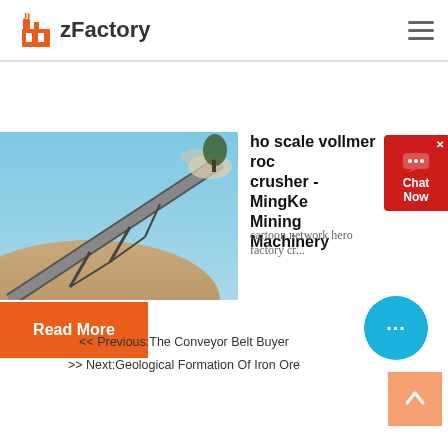zFactory
[Figure (photo): Industrial conveyor belt at a mining or quarry site, angled steeply against a blue sky, with dust and material being conveyed upward.]
ho scale vollmer rock crusher - MingKe Mining Machinery
cartoon network hero factory cr...
Read More
Chat Now
<< Previous:The Conveyor Belt Buyer
>> Next:Geological Formation Of Iron Ore